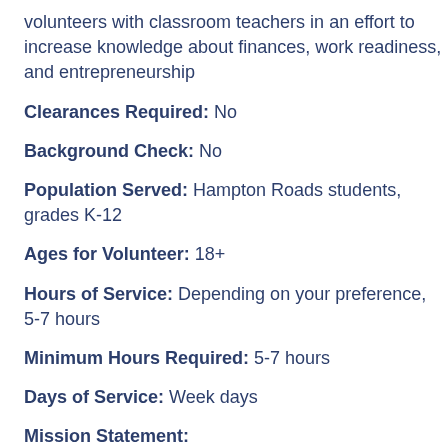volunteers with classroom teachers in an effort to increase knowledge about finances, work readiness, and entrepreneurship
Clearances Required: No
Background Check: No
Population Served: Hampton Roads students, grades K-12
Ages for Volunteer: 18+
Hours of Service: Depending on your preference, 5-7 hours
Minimum Hours Required: 5-7 hours
Days of Service: Week days
Mission Statement: